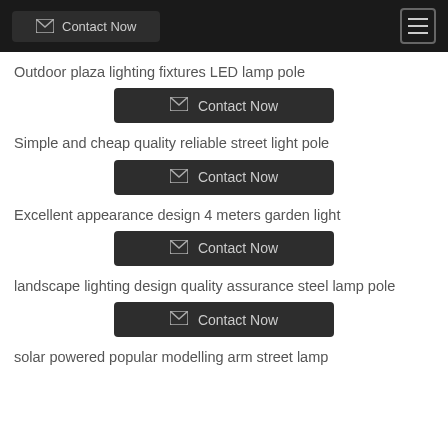Contact Now
Outdoor plaza lighting fixtures LED lamp pole
Contact Now
Simple and cheap quality reliable street light pole
Contact Now
Excellent appearance design 4 meters garden light
Contact Now
landscape lighting design quality assurance steel lamp pole
Contact Now
solar powered popular modelling arm street lamp